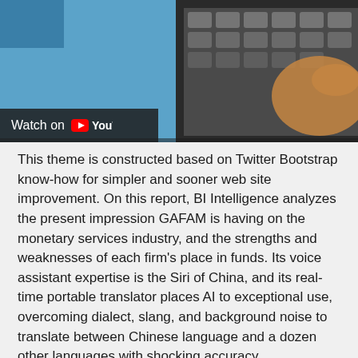[Figure (screenshot): YouTube video thumbnail showing a keyboard and hands, with a 'Watch on YouTube' overlay bar in the lower left corner]
This theme is constructed based on Twitter Bootstrap know-how for simpler and sooner web site improvement. On this report, BI Intelligence analyzes the present impression GAFAM is having on the monetary services industry, and the strengths and weaknesses of each firm's place in funds. Its voice assistant expertise is the Siri of China, and its real-time portable translator places AI to exceptional use, overcoming dialect, slang, and background noise to translate between Chinese language and a dozen other languages with shocking accuracy.
We have labored with clients in computer software and hardware, semiconductor, IT companies, storage, components and peripherals sectors. But by honing ...